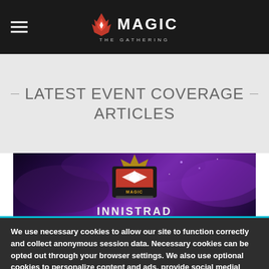Magic: The Gathering navigation bar with hamburger menu and logo
LATEST EVENT COVERAGE ARTICLES
[Figure (screenshot): Magic: The Gathering Innistrad event banner with dark purple mystical background and Magic Pro League shield logo]
We use necessary cookies to allow our site to function correctly and collect anonymous session data. Necessary cookies can be opted out through your browser settings. We also use optional cookies to personalize content and ads, provide social medial features and analyze web traffic. By clicking “OK, I agree,” you consent to optional cookies.
(Learn more about cookies.)
OK, I agree
No, thanks